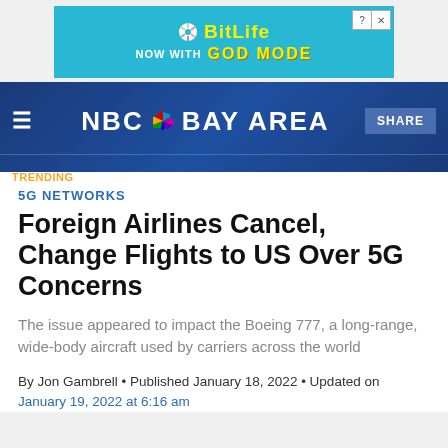[Figure (screenshot): BitLife advertisement banner — 'NOW WITH GOD MODE' text on cyan background with hand pointing gesture and close/question buttons]
NBC BAY AREA — SHARE — TRENDING: Student Loan Forgiveness  Record Lot...
5G NETWORKS
Foreign Airlines Cancel, Change Flights to US Over 5G Concerns
The issue appeared to impact the Boeing 777, a long-range, wide-body aircraft used by carriers across the world
By Jon Gambrell • Published January 18, 2022 • Updated on January 19, 2022 at 6:16 am